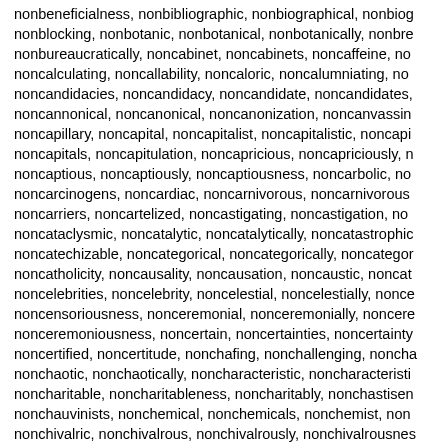nonbeneficialness, nonbibliographic, nonbiographical, nonbiog nonblocking, nonbotanic, nonbotanical, nonbotanically, nonbre nonbureaucratically, noncabinet, noncabinets, noncaffeine, no noncalculating, noncallability, noncaloric, noncalumniating, no noncandidacies, noncandidacy, noncandidate, noncandidates, noncannonical, noncanonical, noncanonization, noncanvassin noncapillary, noncapital, noncapitalist, noncapitalistic, noncap noncapitals, noncapitulation, noncapricious, noncapriciously, n noncaptious, noncaptiously, noncaptiousness, noncarbolic, no noncarcinogens, noncardiac, noncarnivorous, noncarnivorous noncarriers, noncartelized, noncastigating, noncastigation, no noncataclysmic, noncatalytic, noncatalytically, noncatastrophic noncatechizable, noncategorical, noncategorically, noncategor noncatholicity, noncausality, noncausation, noncaustic, noncat noncelebrities, noncelebrity, noncelestial, noncelestially, once noncensoriousness, nonceremonial, nonceremonially, noncere nonceremoniousness, noncertain, noncertainties, noncertainty noncertified, noncertitude, nonchafing, nonchallenging, noncha nonchaotic, nonchaotically, noncharacteristic, noncharacteristi noncharitable, noncharitableness, noncharitably, nonchastisen nonchauvinists, nonchemical, nonchemicals, nonchemist, non nonchivalric, nonchivalrous, nonchivalrously, nonchivalrousnes nonchromatically, nonchronic, nonchronical, nonchronically, no nonciliated, noncircuit, noncircuital, noncircuited, noncircuitous noncircular, noncircularly, noncirculating, noncirculation, nonci